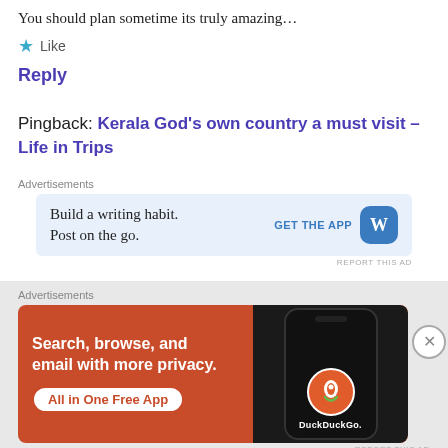You should plan sometime its truly amazing…
★ Like
Reply
Pingback: Kerala God's own country a must visit – Life in Trips
Advertisements
[Figure (screenshot): WordPress ad: Build a writing habit. Post on the go. GET THE APP with WordPress logo]
REPORT THIS AD
Advertisements
[Figure (screenshot): DuckDuckGo ad: Search, browse, and email with more privacy. All in One Free App. Shows phone with DuckDuckGo logo.]